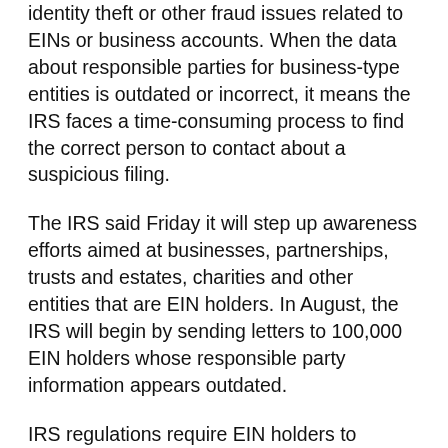identity theft or other fraud issues related to EINs or business accounts. When the data about responsible parties for business-type entities is outdated or incorrect, it means the IRS faces a time-consuming process to find the correct person to contact about a suspicious filing.
The IRS said Friday it will step up awareness efforts aimed at businesses, partnerships, trusts and estates, charities and other entities that are EIN holders. In August, the IRS will begin by sending letters to 100,000 EIN holders whose responsible party information appears outdated.
IRS regulations require EIN holders to update responsible party information within 60 days of any change by filing Form 8822-B, Change of Address or Responsible Party - Business